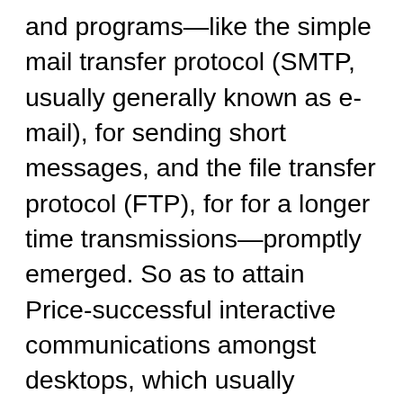and programs—like the simple mail transfer protocol (SMTP, usually generally known as e-mail), for sending short messages, and the file transfer protocol (FTP), for for a longer time transmissions—promptly emerged. So as to attain Price-successful interactive communications amongst desktops, which usually converse in short bursts of data, ARPANET employed the new know-how of packet switching. Packet switching takes substantial messages (or chunks of Laptop knowledge) and breaks them into scaled-down, workable pieces (referred to as packets) that will vacation independently about any offered circuit towards the target desired destination, in which the pieces are reassembled. As a result, compared with